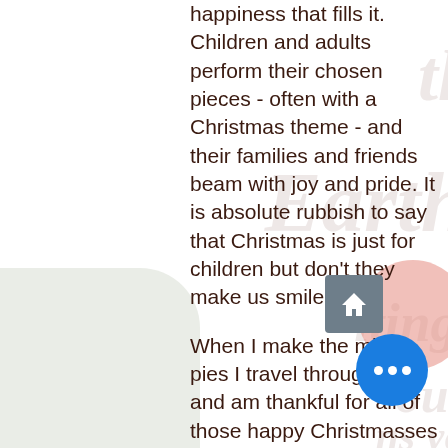happiness that fills it. Children and adults perform their chosen pieces - often with a Christmas theme - and their families and friends beam with joy and pride. It is absolute rubbish to say that Christmas is just for children but don't they make us smile!
When I make the mince pies I travel through time and am thankful for all of those happy Christmasses - sometimes I shed a tear for those who are no longer able to share my Christmas. Or are they? They never seem far away. Grandma and Grandad Johnson bringing loaves of plum bread - made to a secret family recipe; Granny Ivy and Grandad Bob welcoming us on Christmas morni... Auntie Gwen and Uncle Pete arriving